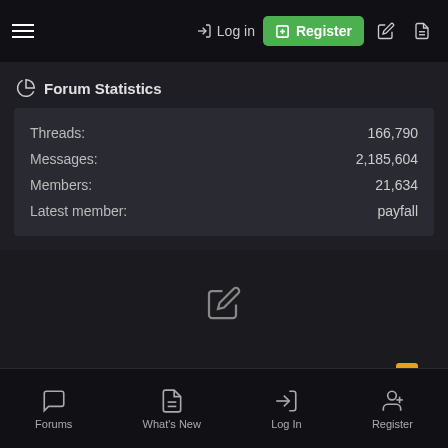Log in | Register
Forum Statistics
| Label | Value |
| --- | --- |
| Threads: | 166,790 |
| Messages: | 2,185,604 |
| Members: | 21,634 |
| Latest member: | payfall |
Contact us | Terms and rules | Privacy policy | Help | Home
Forums | What's New | Log In | Register